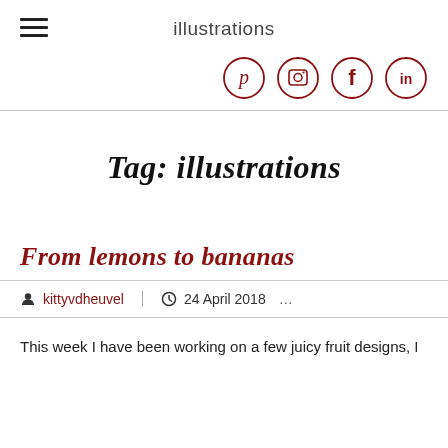illustrations
[Figure (illustration): Social media icons in circles: Pinterest, Instagram, Facebook, LinkedIn]
Tag: illustrations
From lemons to bananas
kittyvdheuvel   24 April 2018  ...
This week I have been working on a few juicy fruit designs, I